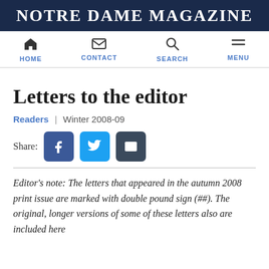Notre Dame Magazine
Letters to the editor
Readers | Winter 2008-09
[Figure (infographic): Share buttons: Facebook (blue), Twitter (light blue), Email (dark blue/grey)]
Editor's note: The letters that appeared in the autumn 2008 print issue are marked with double pound sign (##). The original, longer versions of some of these letters also are included here